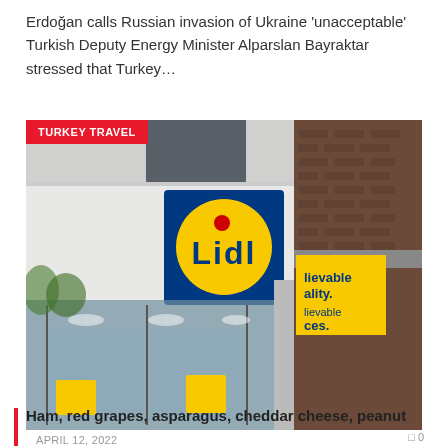Erdoğan calls Russian invasion of Ukraine 'unacceptable' Turkish Deputy Energy Minister Alparslan Bayraktar stressed that Turkey…
[Figure (photo): Exterior photograph of a Lidl supermarket store front showing the Lidl logo (blue square with yellow circle and blue text 'Lidl' with a red dot above the 'i'), glass entrance doors, white brick facade, and brick wall on the right side with a yellow advertising banner. A red 'TURKEY TRAVEL' badge overlays the top-left corner of the image.]
APRIL 12, 2022
Ham, red grapes, asparagus, cheddar cheese, peanut